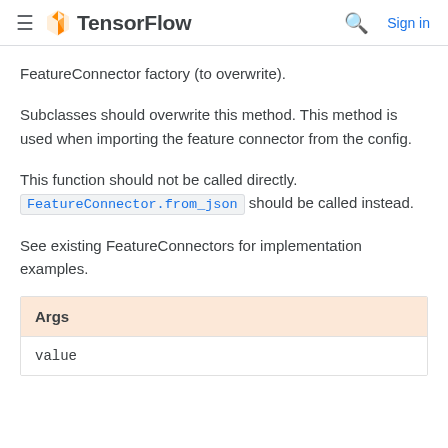≡  TensorFlow   🔍  Sign in
FeatureConnector factory (to overwrite).
Subclasses should overwrite this method. This method is used when importing the feature connector from the config.
This function should not be called directly. FeatureConnector.from_json should be called instead.
See existing FeatureConnectors for implementation examples.
| Args |
| --- |
| value |